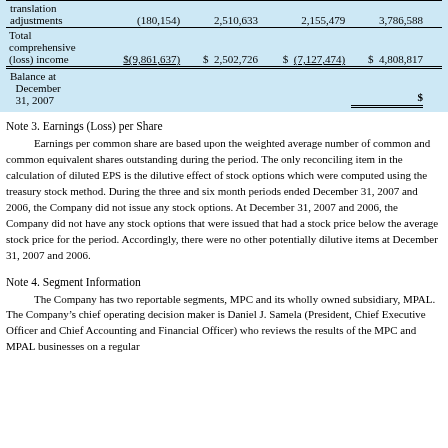|  | Col1 | Col2 | Col3 | Col4 |
| --- | --- | --- | --- | --- |
| translation adjustments | (180,154) | 2,510,633 | 2,155,479 | 3,786,588 |
| Total comprehensive (loss) income | $(9,861,637) | $  2,502,726 | $  (7,127,474) | $  4,808,817 |
| Balance at December 31, 2007 |  |  |  | $ |
Note 3. Earnings (Loss) per Share
Earnings per common share are based upon the weighted average number of common and common equivalent shares outstanding during the period. The only reconciling item in the calculation of diluted EPS is the dilutive effect of stock options which were computed using the treasury stock method. During the three and six month periods ended December 31, 2007 and 2006, the Company did not issue any stock options. At December 31, 2007 and 2006, the Company did not have any stock options that were issued that had a stock price below the average stock price for the period. Accordingly, there were no other potentially dilutive items at December 31, 2007 and 2006.
Note 4. Segment Information
The Company has two reportable segments, MPC and its wholly owned subsidiary, MPAL. The Company’s chief operating decision maker is Daniel J. Samela (President, Chief Executive Officer and Chief Accounting and Financial Officer) who reviews the results of the MPC and MPAL businesses on a regular